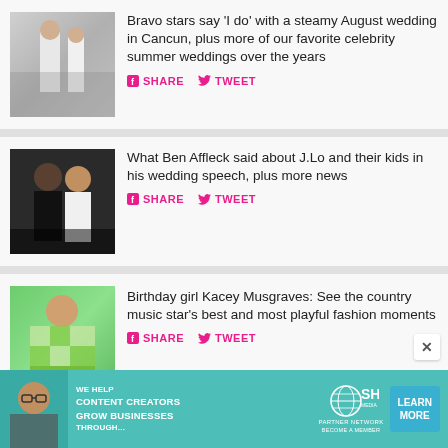[Figure (photo): Couple at wedding in white outfits, outdoor setting]
Bravo stars say 'I do' with a steamy August wedding in Cancun, plus more of our favorite celebrity summer weddings over the years
SHARE   TWEET
[Figure (photo): Ben Affleck in tux and Jennifer Lopez in white dress]
What Ben Affleck said about J.Lo and their kids in his wedding speech, plus more news
SHARE   TWEET
[Figure (photo): Kacey Musgraves in green checkered outfit]
Birthday girl Kacey Musgraves: See the country music star's best and most playful fashion moments
SHARE   TWEET
[Figure (infographic): SHE Partner Network advertisement banner - WE HELP CONTENT CREATORS GROW BUSINESSES THROUGH... LEARN MORE]